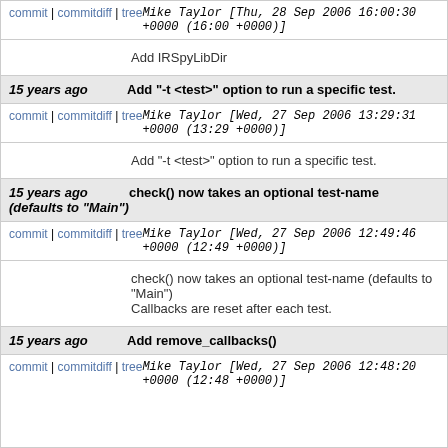commit | commitdiff | tree   Mike Taylor [Thu, 28 Sep 2006 16:00:30 +0000 (16:00 +0000)]
Add IRSpyLibDir
15 years ago   Add "-t <test>" option to run a specific test.
commit | commitdiff | tree   Mike Taylor [Wed, 27 Sep 2006 13:29:31 +0000 (13:29 +0000)]
Add "-t <test>" option to run a specific test.
15 years ago   check() now takes an optional test-name (defaults to "Main")
commit | commitdiff | tree   Mike Taylor [Wed, 27 Sep 2006 12:49:46 +0000 (12:49 +0000)]
check() now takes an optional test-name (defaults to "Main")
Callbacks are reset after each test.
15 years ago   Add remove_callbacks()
commit | commitdiff | tree   Mike Taylor [Wed, 27 Sep 2006 12:48:20 +0000 (12:48 +0000)]